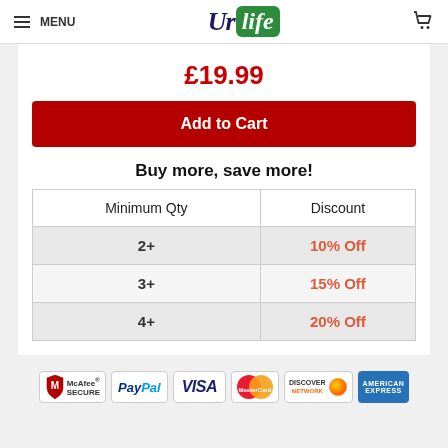MENU | UrLife | cart
£19.99
Add to Cart
Buy more, save more!
| Minimum Qty | Discount |
| --- | --- |
| 2+ | 10% Off |
| 3+ | 15% Off |
| 4+ | 20% Off |
[Figure (logo): Payment method logos: McAfee SECURE, PayPal, VISA, Mastercard, Discover Network, American Express]